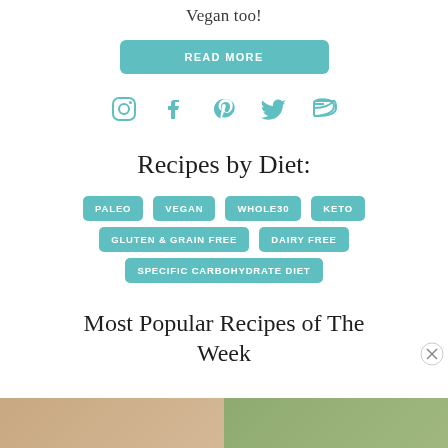Vegan too!
READ MORE
[Figure (other): Social media icons: Instagram, Facebook, Pinterest, Twitter, RSS feed — teal colored]
Recipes by Diet:
PALEO
VEGAN
WHOLE30
KETO
GLUTEN & GRAIN FREE
DAIRY FREE
SPECIFIC CARBOHYDRATE DIET
Most Popular Recipes of The Week
[Figure (photo): Two partially visible food photos at the bottom of the page]